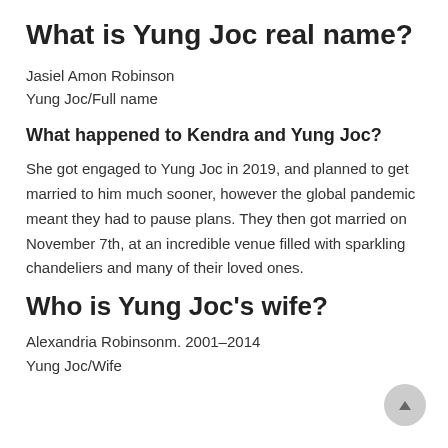What is Yung Joc real name?
Jasiel Amon Robinson
Yung Joc/Full name
What happened to Kendra and Yung Joc?
She got engaged to Yung Joc in 2019, and planned to get married to him much sooner, however the global pandemic meant they had to pause plans. They then got married on November 7th, at an incredible venue filled with sparkling chandeliers and many of their loved ones.
Who is Yung Joc's wife?
Alexandria Robinsonm. 2001–2014
Yung Joc/Wife